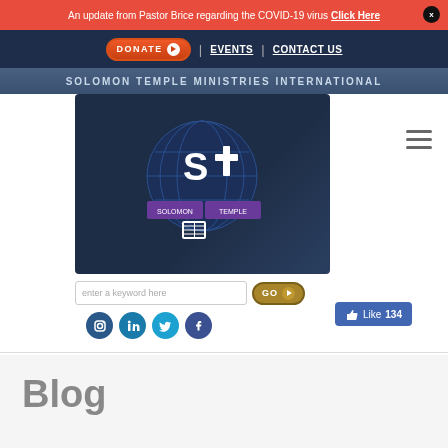An update from Pastor Brice regarding the COVID-19 virus Click Here
[Figure (screenshot): Navigation bar with DONATE button, EVENTS and CONTACT US links on dark navy background]
SOLOMON TEMPLE MINISTRIES INTERNATIONAL
[Figure (logo): Solomon Temple Ministries International logo with globe, S+ symbol and open book on dark navy background]
[Figure (screenshot): Search bar with 'enter a keyword here' placeholder and GO button]
[Figure (screenshot): Social media icons: Instagram, LinkedIn, Twitter, Facebook]
[Figure (screenshot): Facebook Like button showing 134 likes]
Blog